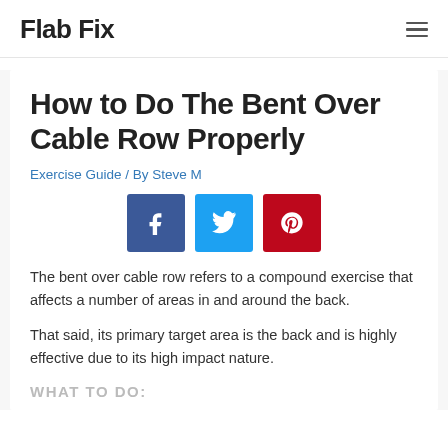Flab Fix
How to Do The Bent Over Cable Row Properly
Exercise Guide / By Steve M
[Figure (other): Social sharing buttons: Facebook, Twitter, Pinterest]
The bent over cable row refers to a compound exercise that affects a number of areas in and around the back.
That said, its primary target area is the back and is highly effective due to its high impact nature.
WHAT TO DO: